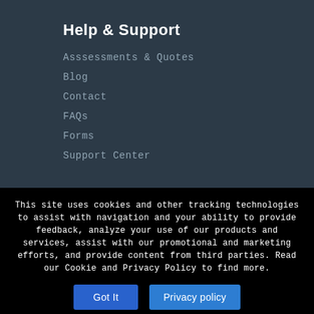Help & Support
Asssessments & Quotes
Blog
Contact
FAQs
Forms
Support Center
This site uses cookies and other tracking technologies to assist with navigation and your ability to provide feedback, analyze your use of our products and services, assist with our promotional and marketing efforts, and provide content from third parties. Read our Cookie and Privacy Policy to find more.
Got It
Privacy policy